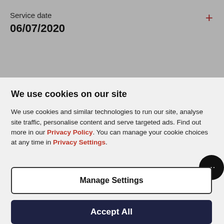Service date
06/07/2020
We use cookies on our site
We use cookies and similar technologies to run our site, analyse site traffic, personalise content and serve targeted ads. Find out more in our Privacy Policy. You can manage your cookie choices at any time in Privacy Settings.
Manage Settings
Accept All